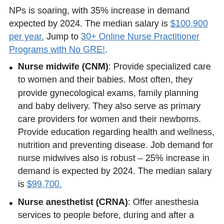NPs is soaring, with 35% increase in demand expected by 2024. The median salary is $100,900 per year. Jump to 30+ Online Nurse Practitioner Programs with No GRE!.
Nurse midwife (CNM): Provide specialized care to women and their babies. Most often, they provide gynecological exams, family planning and baby delivery. They also serve as primary care providers for women and their newborns. Provide education regarding health and wellness, nutrition and preventing disease. Job demand for nurse midwives also is robust – 25% increase in demand is expected by 2024. The median salary is $99,700.
Nurse anesthetist (CRNA): Offer anesthesia services to people before, during and after a variety of surgeries and procedures. A CRNA may perform most of the same duties as an anesthesiologist, who supervises him or her in